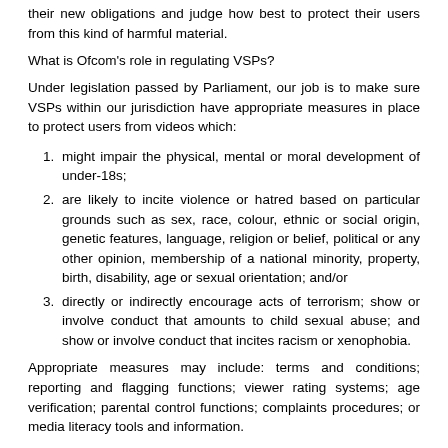their new obligations and judge how best to protect their users from this kind of harmful material.
What is Ofcom's role in regulating VSPs?
Under legislation passed by Parliament, our job is to make sure VSPs within our jurisdiction have appropriate measures in place to protect users from videos which:
might impair the physical, mental or moral development of under-18s;
are likely to incite violence or hatred based on particular grounds such as sex, race, colour, ethnic or social origin, genetic features, language, religion or belief, political or any other opinion, membership of a national minority, property, birth, disability, age or sexual orientation; and/or
directly or indirectly encourage acts of terrorism; show or involve conduct that amounts to child sexual abuse; and show or involve conduct that incites racism or xenophobia.
Appropriate measures may include: terms and conditions; reporting and flagging functions; viewer rating systems; age verification; parental control functions; complaints procedures; or media literacy tools and information.
Which video-sharing platforms fall under Ofcom's powers?
VSP providers must assess whether they fall under the regulations and come under UK jurisdiction, and if they do are legally obliged to